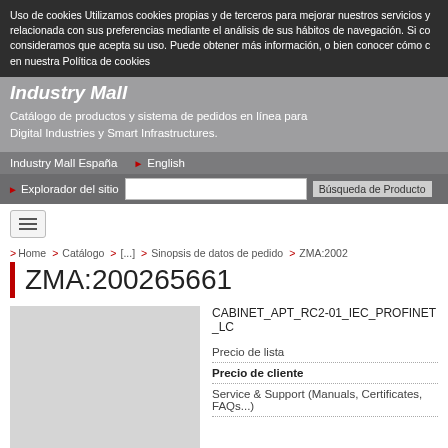Uso de cookies Utilizamos cookies propias y de terceros para mejorar nuestros servicios y relacionada con sus preferencias mediante el análisis de sus hábitos de navegación. Si co consideramos que acepta su uso. Puede obtener más información, o bien conocer cómo c en nuestra Política de cookies
Industry Mall
Catálogo de productos y sistema de pedidos en línea para Digital Industries y Smart Infrastructures.
Industry Mall España  ▶ English
▶ Explorador del sitio    Búsqueda de Producto
> Home  > Catálogo  > [...]  > Sinopsis de datos de pedido  > ZMA:2002
ZMA:200265661
CABINET_APT_RC2-01_IEC_PROFINET _LC
Precio de lista
Precio de cliente
Service & Support (Manuals, Certificates, FAQs...)